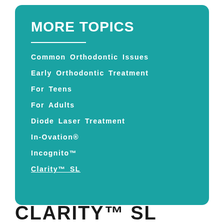MORE TOPICS
Common Orthodontic Issues
Early Orthodontic Treatment
For Teens
For Adults
Diode Laser Treatment
In-Ovation®
Incognito™
Clarity™ SL
CLARITY™ SL